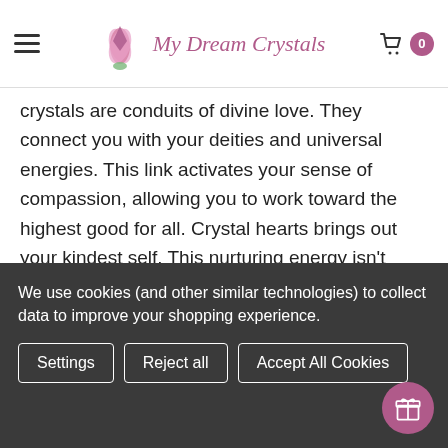My Dream Crystals
crystals are conduits of divine love. They connect you with your deities and universal energies. This link activates your sense of compassion, allowing you to work toward the highest good for all. Crystal hearts brings out your kindest self. This nurturing energy isn't reserved just for others, however. Heart-shaped crystals help you turn this compassion inward, fostering a profound sense of self-love.
We use cookies (and other similar technologies) to collect data to improve your shopping experience.